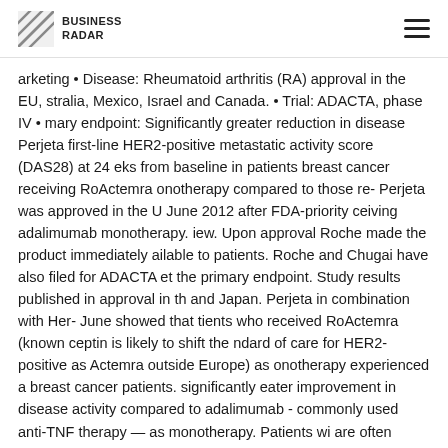BUSINESS RADAR
arketing • Disease: Rheumatoid arthritis (RA) approval in the EU, stralia, Mexico, Israel and Canada. • Trial: ADACTA, phase IV • mary endpoint: Significantly greater reduction in disease Perjeta first-line HER2-positive metastatic activity score (DAS28) at 24 eks from baseline in patients breast cancer receiving RoActemra onotherapy compared to those re- Perjeta was approved in the U June 2012 after FDA-priority ceiving adalimumab monotherapy. iew. Upon approval Roche made the product immediately ailable to patients. Roche and Chugai have also filed for ADACTA et the primary endpoint. Study results published in approval in th and Japan. Perjeta in combination with Her- June showed that tients who received RoActemra (known ceptin is likely to shift the ndard of care for HER2-positive as Actemra outside Europe) as onotherapy experienced a breast cancer patients. significantly eater improvement in disease activity compared to adalimumab - commonly used anti-TNF therapy — as monotherapy. Patients wi are often treated with a number of medicines, combining protei